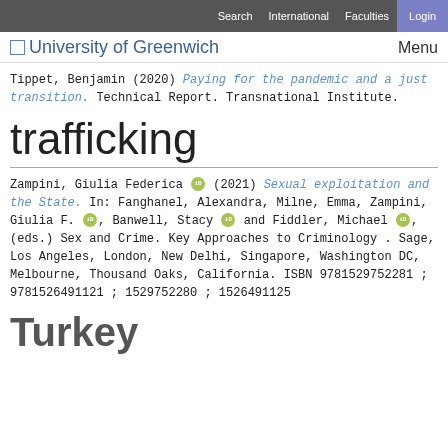Search  International  Faculties  Login
University of Greenwich   Menu
Tippet, Benjamin (2020) Paying for the pandemic and a just transition. Technical Report. Transnational Institute.
trafficking
Zampini, Giulia Federica [orcid] (2021) Sexual exploitation and the State. In: Fanghanel, Alexandra, Milne, Emma, Zampini, Giulia F. [orcid], Banwell, Stacy [orcid] and Fiddler, Michael [orcid], (eds.) Sex and Crime. Key Approaches to Criminology . Sage, Los Angeles, London, New Delhi, Singapore, Washington DC, Melbourne, Thousand Oaks, California. ISBN 9781529752281 ; 9781526491121 ; 1529752280 ; 1526491125
Turkey